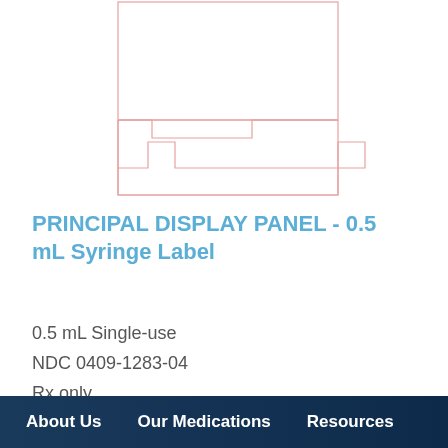[Figure (schematic): Outline diagram of a syringe label template with a notched top edge, shown with a thin red/pink border on white background]
PRINCIPAL DISPLAY PANEL - 0.5 mL Syringe Label
0.5 mL Single-use
NDC 0409-1283-04
Rx only
About Us   Our Medications   Resources